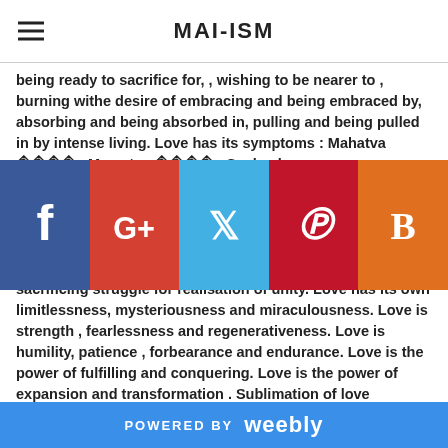MAI-ISM
being ready to sacrifice for, , wishing to be nearer to , burning withe desire of embracing and being embraced by, absorbing and being absorbed in, pulling and being pulled in by intense living. Love has its symptoms : Mahatva      , Mamatva      , Sankoch a ,       and a , c in o myness r in e f constant contact and self-surrender ].
[Figure (infographic): Social media sharing icons: Facebook (blue), Google+ (red-orange), Twitter (light blue), Pinterest (dark red), Blogger (orange)]
Love is levelisation. Love is the root of all virtues and the sacrificing struggle for realisation of unity. Love has its own limitlessness, mysteriousness and miraculousness. Love is strength , fearlessness and regenerativeness. Love is humility, patience , forbearance and endurance. Love is the power of fulfilling and conquering. Love is the power of expansion and transformation . Sublimation of love
POWERED BY weebly